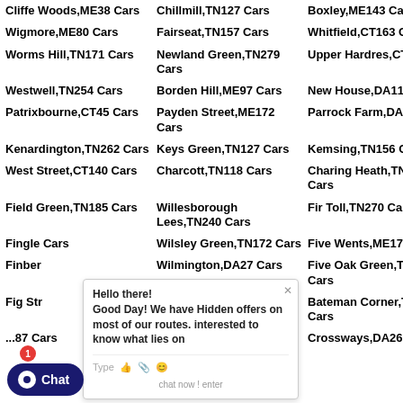Cliffe Woods,ME38 Cars
Chillmill,TN127 Cars
Boxley,ME143 Cars
Wigmore,ME80 Cars
Fairseat,TN157 Cars
Whitfield,CT163 Cars
Worms Hill,TN171 Cars
Newland Green,TN279 Cars
Upper Hardres,CT46 Cars
Westwell,TN254 Cars
Borden Hill,ME97 Cars
New House,DA118 Cars
Patrixbourne,CT45 Cars
Payden Street,ME172 Cars
Parrock Farm,DA125 Cars
Kenardington,TN262 Cars
Keys Green,TN127 Cars
Kemsing,TN156 Cars
West Street,CT140 Cars
Charcott,TN118 Cars
Charing Heath,TN270 Cars
Field Green,TN185 Cars
Willesborough Lees,TN240 Cars
Fir Toll,TN270 Cars
Fingle Cars
Wilsley Green,TN172 Cars
Five Wents,ME173 Cars
Finber...
Wilmington,DA27 Cars
Five Oak Green,TN126 Cars
Fig Str...
Willington,ME158 Cars
Bateman Corner,TN263 Cars
...87 Cars
Paramour Street,CT32 Cars
Crossways,DA26 Cars